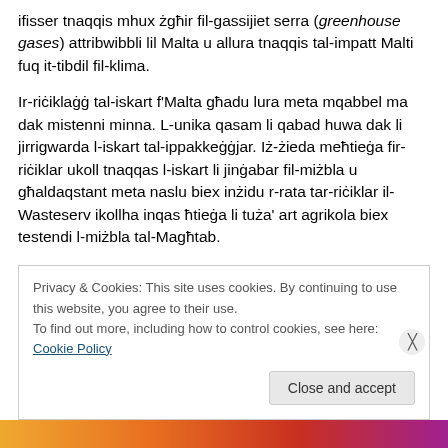ifisser tnaqqis mhux żgħir fil-gassijiet serra (greenhouse gases) attribwibbli lil Malta u allura tnaqqis tal-impatt Malti fuq it-tibdil fil-klima.
Ir-riċiklaġġ tal-iskart f'Malta għadu lura meta mqabbel ma dak mistenni minna. L-unika qasam li qabad huwa dak li jirrigwarda l-iskart tal-ippakkeġġjar. Iż-żieda meħtieġa fir-riċiklar ukoll tnaqqas l-iskart li jinġabar fil-miżbla u għaldaqstant meta naslu biex inżidu r-rata tar-riċiklar il-Wasteserv ikollha inqas ħtieġa li tuża' art agrikola biex testendi l-miżbla tal-Magħtab.
Privacy & Cookies: This site uses cookies. By continuing to use this website, you agree to their use.
To find out more, including how to control cookies, see here: Cookie Policy